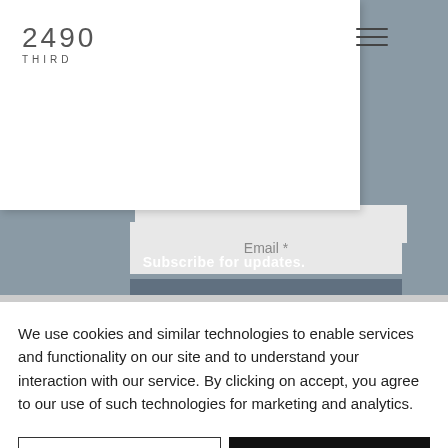[Figure (screenshot): Website header with logo '2490 THIRD' on white navigation card, hamburger menu icon top right, overlaid on grey background with email subscription form containing Email field, Submit button, and 'Subscribe for updates.' text]
We use cookies and similar technologies to enable services and functionality on our site and to understand your interaction with our service. By clicking on accept, you agree to our use of such technologies for marketing and analytics.
Cookie Settings
Accept